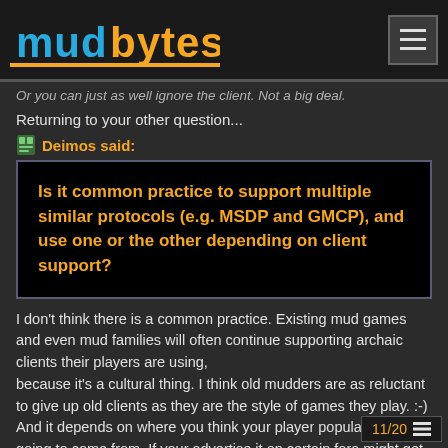MudBytes
Or you can just as well ignore the client. Not a big deal.
Returning to your other question...
Deimos said:
Is it common practice to support multiple similar protocols (e.g. MSDP and GMCP), and use one or the other depending on client support?
I don't think there is a common practice. Existing mud games and even mud families will often continue supporting archaic clients their players are using,
because it's a cultural thing. I think old mudders are as reluctant to give up old clients as they are the style of games they play. :-)
And it depends on where you think your player population is going to come from. If your advertise it on certain fora might get SimpleMU, tkMOO, Pueblo
11/20